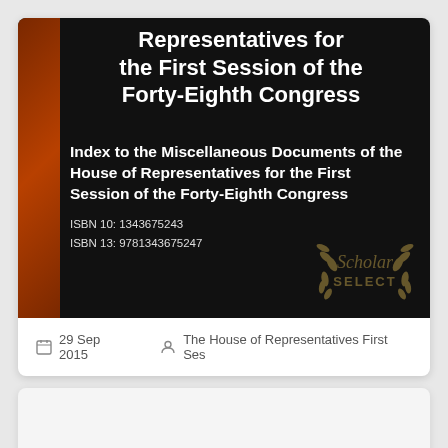[Figure (illustration): Book cover with black background, brown/rust spine on left, white bold title text 'Representatives for the First Session of the Forty-Eighth Congress' at top center, subtitle and ISBN info below, Scholar Select watermark (laurel wreath with text) at bottom right]
Index to the Miscellaneous Documents of the House of Representatives for the First Session of the Forty-Eighth Congress
ISBN 10: 1343675243
ISBN 13: 9781343675247
29 Sep 2015    The House of Representatives First Ses